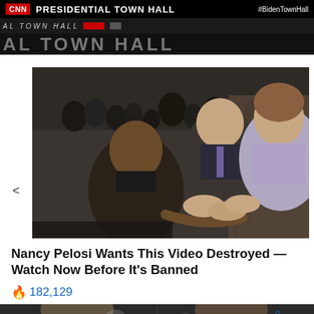[Figure (screenshot): CNN Presidential Town Hall banner with CNN logo, #BidenTownHall hashtag, and dark lower bar with ticker text]
[Figure (photo): Photo of Barack Obama, Joe Biden, and Nancy Pelosi at what appears to be a joint session of Congress, shaking hands and interacting]
Nancy Pelosi Wants This Video Destroyed — Watch Now Before It's Banned
🔥 182,129
[Figure (photo): Bottom strip showing two people side by side with social sharing icons (Facebook, Twitter, Reddit, Email) and Comments label]